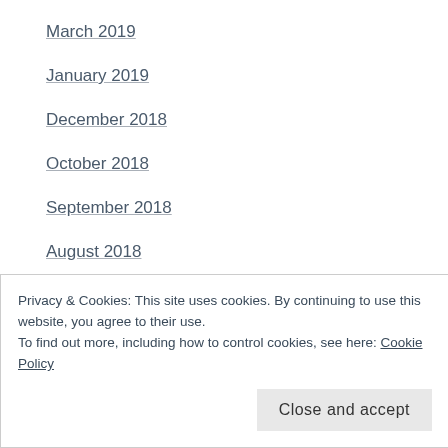March 2019
January 2019
December 2018
October 2018
September 2018
August 2018
April 2018
February 2018
November 2017
October 2017
February 2017
Privacy & Cookies: This site uses cookies. By continuing to use this website, you agree to their use.
To find out more, including how to control cookies, see here: Cookie Policy
Close and accept